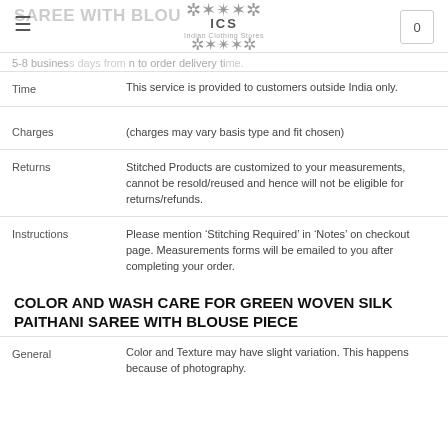SAREE WITH BLOU... | ICS Indian Clothing Stores | 0
|  |  |
| --- | --- |
| Time | 5-8 business days from order delivery time. This service is provided to customers outside India only. |
| Charges | (charges may vary basis type and fit chosen) |
| Returns | Stitched Products are customized to your measurements, cannot be resold/reused and hence will not be eligible for returns/refunds. |
| Instructions | Please mention 'Stitching Required' in 'Notes' on checkout page. Measurements forms will be emailed to you after completing your order. |
COLOR AND WASH CARE FOR GREEN WOVEN SILK PAITHANI SAREE WITH BLOUSE PIECE
|  |  |
| --- | --- |
| General | Color and Texture may have slight variation. This happens because of photography. |